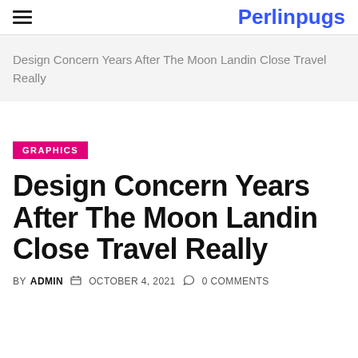Perlinpugs
Design Concern Years After The Moon Landin Close Travel Really
GRAPHICS
Design Concern Years After The Moon Landin Close Travel Really
BY ADMIN   OCTOBER 4, 2021   0 COMMENTS